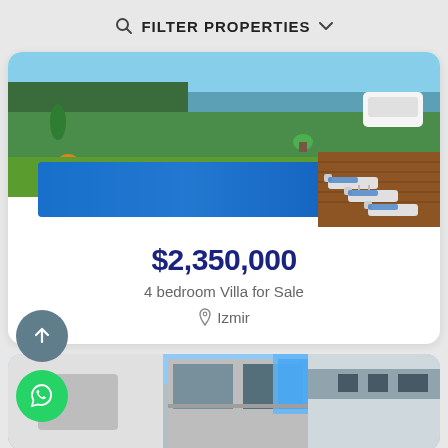FILTER PROPERTIES
[Figure (photo): Outdoor swimming pool with sun loungers, wooden deck, green garden and landscaping]
$2,350,000
4 bedroom Villa for Sale
Izmir
[Figure (photo): Modern villa building exterior with blue glass panels and concrete facade against blue sky]